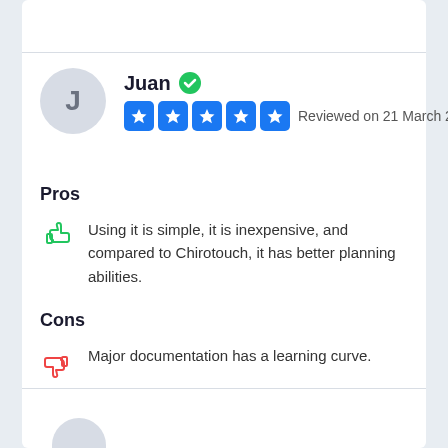Juan — Reviewed on 21 March 2020 — 5 stars
Pros
Using it is simple, it is inexpensive, and compared to Chirotouch, it has better planning abilities.
Cons
Major documentation has a learning curve.